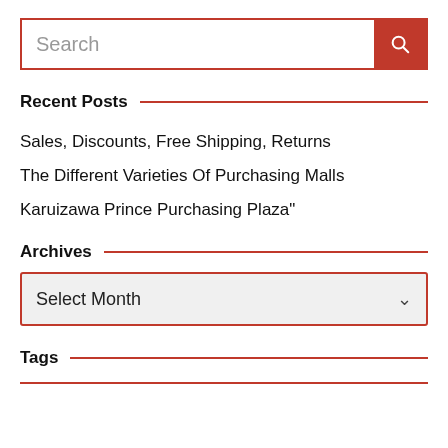[Figure (other): Search bar with text 'Search' and red search button icon on the right]
Recent Posts
Sales, Discounts, Free Shipping, Returns
The Different Varieties Of Purchasing Malls
Karuizawa Prince Purchasing Plaza"
Archives
[Figure (other): Dropdown select box with label 'Select Month' and a down arrow]
Tags